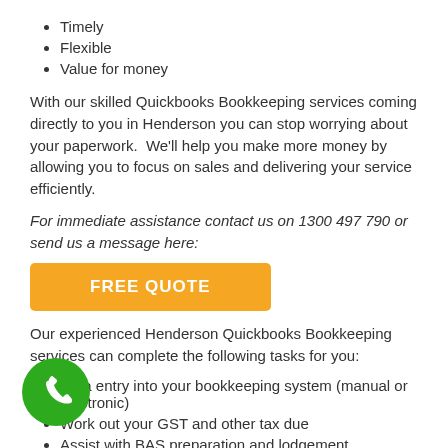Timely
Flexible
Value for money
With our skilled Quickbooks Bookkeeping services coming directly to you in Henderson you can stop worrying about your paperwork.  We'll help you make more money by allowing you to focus on sales and delivering your service efficiently.
For immediate assistance contact us on 1300 497 790 or send us a message here:
[Figure (other): Orange button labeled FREE QUOTE]
Our experienced Henderson Quickbooks Bookkeeping services can complete the following tasks for you:
Data entry into your bookkeeping system (manual or electronic)
Work out your GST and other tax due
Assist with BAS preparation and lodgement
Complete payroll and staff entitlements
Complete accounts receivable
[Figure (other): Green circular phone call button]